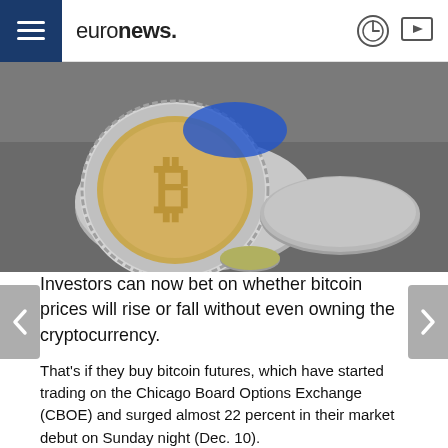euronews.
[Figure (photo): Close-up photograph of a silver Bitcoin coin with a B symbol on the front, alongside another coin in the background, on a gray surface.]
Investors can now bet on whether bitcoin prices will rise or fall without even owning the cryptocurrency.
That's if they buy bitcoin futures, which have started trading on the Chicago Board Options Exchange (CBOE) and surged almost 22 percent in their market debut on Sunday night (Dec. 10).
Although bitcoin futures were already offered on some unregulated cryptocurrency exchanges outside the United States, the CBOE launch marked the first time investors could get exposure to the market via a